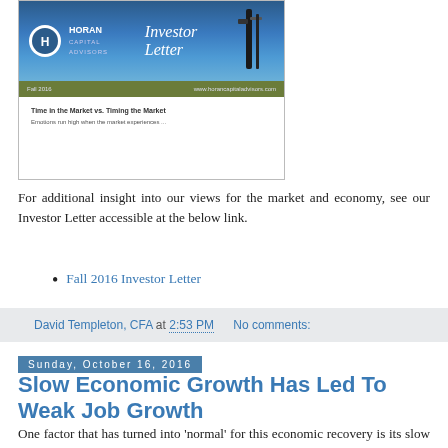[Figure (illustration): Horan Capital Advisors Investor Letter cover image showing logo and header with dark blue gradient background and article preview text]
For additional insight into our views for the market and economy, see our Investor Letter accessible at the below link.
Fall 2016 Investor Letter
David Templeton, CFA at 2:53 PM    No comments:
Sunday, October 16, 2016
Slow Economic Growth Has Led To Weak Job Growth
One factor that has turned into 'normal' for this economic recovery is its slow rate of growth. Out of the eleven recoveries since 1949, the current one is the slowest, barely